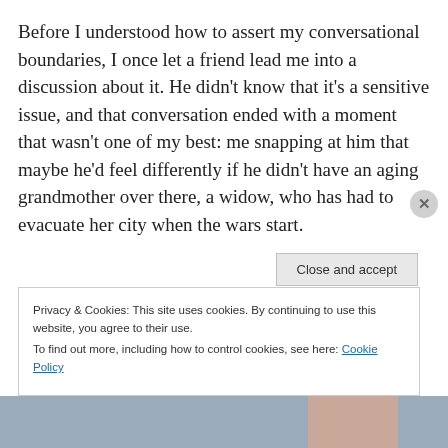Before I understood how to assert my conversational boundaries, I once let a friend lead me into a discussion about it. He didn't know that it's a sensitive issue, and that conversation ended with a moment that wasn't one of my best: me snapping at him that maybe he'd feel differently if he didn't have an aging grandmother over there, a widow, who has had to evacuate her city when the wars start.
Privacy & Cookies: This site uses cookies. By continuing to use this website, you agree to their use.
To find out more, including how to control cookies, see here: Cookie Policy
Close and accept